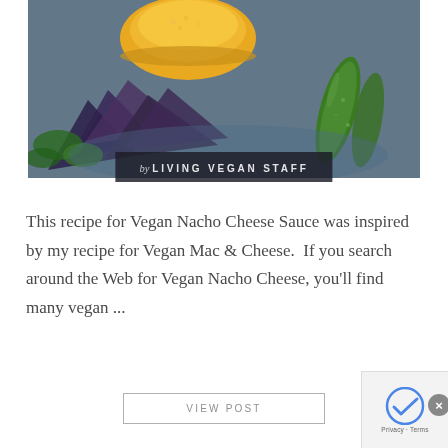[Figure (photo): Photo of vegan nacho cheese sauce in a bowl with blue corn tortilla chips, jalapeños, and herbs on a blue surface]
by LIVING VEGAN STAFF
This recipe for Vegan Nacho Cheese Sauce was inspired by my recipe for Vegan Mac & Cheese.  If you search around the Web for Vegan Nacho Cheese, you'll find many vegan ...
VIEW POST